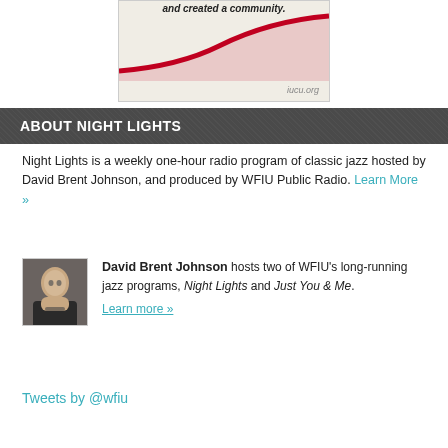[Figure (illustration): Advertisement banner showing a red curved line on a beige/cream background with text 'and created a community.' at top and 'iucu.org' at bottom right]
ABOUT NIGHT LIGHTS
Night Lights is a weekly one-hour radio program of classic jazz hosted by David Brent Johnson, and produced by WFIU Public Radio. Learn More »
David Brent Johnson hosts two of WFIU's long-running jazz programs, Night Lights and Just You & Me. Learn more »
Tweets by @wfiu